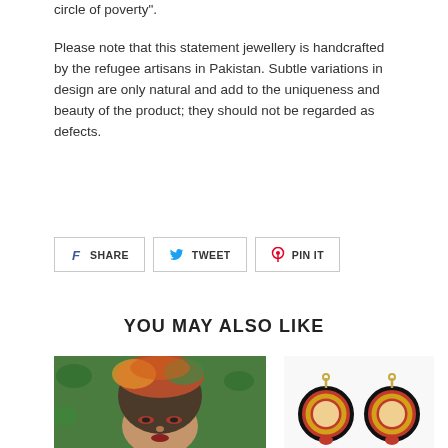circle of poverty".
Please note that this statement jewellery is handcrafted by the refugee artisans in Pakistan. Subtle variations in design are only natural and add to the uniqueness and beauty of the product; they should not be regarded as defects.
SHARE (Facebook)
TWEET (Twitter)
PIN IT (Pinterest)
YOU MAY ALSO LIKE
[Figure (photo): Portrait photo of a woman wearing a colorful headscarf and red eye makeup, with green foliage in background]
[Figure (photo): Photo of red and black circular/hoop earrings with gold beading]